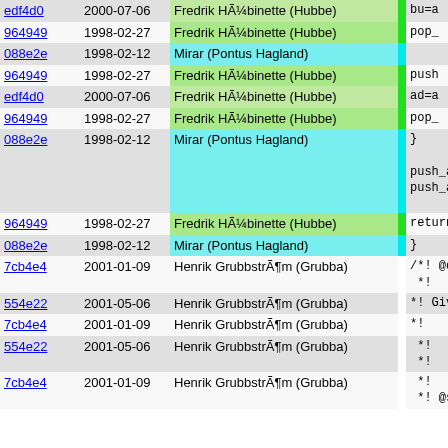| hash | date | author |  | code |
| --- | --- | --- | --- | --- |
| edf4d0 | 2000-07-06 | Fredrik HÃ¼binette (Hubbe) | green | bu=a |
| 964949 | 1998-02-27 | Fredrik HÃ¼binette (Hubbe) | green | pop_ |
| 088e2e | 1998-02-12 | Mirar (Pontus Hagland) | cyan |  |
| 964949 | 1998-02-27 | Fredrik HÃ¼binette (Hubbe) | green | push |
| edf4d0 | 2000-07-06 | Fredrik HÃ¼binette (Hubbe) | green | ad=a |
| 964949 | 1998-02-27 | Fredrik HÃ¼binette (Hubbe) | green | pop_ |
| 088e2e | 1998-02-12 | Mirar (Pontus Hagland) | cyan | }  push_ar push_ar |
| 964949 | 1998-02-27 | Fredrik HÃ¼binette (Hubbe) | green | return |
| 088e2e | 1998-02-12 | Mirar (Pontus Hagland) | cyan | } |
| 7cb4e4 | 2001-01-09 | Henrik GrubbstrÃ¶m (Grubba) | none | /*! @decl *! |
| 554e22 | 2001-05-06 | Henrik GrubbstrÃ¶m (Grubba) | none | *!   Give |
| 7cb4e4 | 2001-01-09 | Henrik GrubbstrÃ¶m (Grubba) | none | *! |
| 554e22 | 2001-05-06 | Henrik GrubbstrÃ¶m (Grubba) | none | *!   The *!   (the |
| 7cb4e4 | 2001-01-09 | Henrik GrubbstrÃ¶m (Grubba) | none | *! *! @seeal |